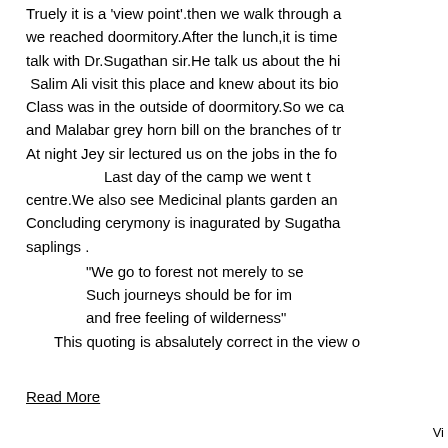Truely it is a 'view point'.then we walk through a we reached doormitory.After the lunch,it is time talk with Dr.Sugathan sir.He talk us about the hi Salim Ali visit this place and knew about its bio Class was in the outside of doormitory.So we ca and Malabar grey horn bill on the branches of tr At night Jey sir lectured us on the jobs in the fo Last day of the camp we went t centre.We also see Medicinal plants garden an Concluding cerymony is inagurated by Sugatha saplings . "We go to forest not merely to se Such journeys should be for im and free feeling of wilderness" This quoting is absalutely correct in the view o
Read More
Vi